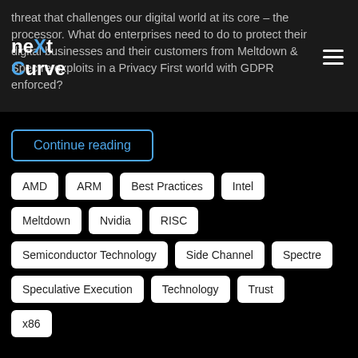threat that challenges our digital world at its core – the processor. What do enterprises need to do to protect their digital businesses and their customers from Meltdown & Spectre exploits in a Privacy First world with GDPR enforced?
Continue reading
AMD
ARM
Best Practices
Intel
Meltdown
Nvidia
RISC
Semiconductor Technology
Side Channel
Spectre
Speculative Execution
Technology
Trust
x86
Meltdown & Spectre – Part 2: The Internet of